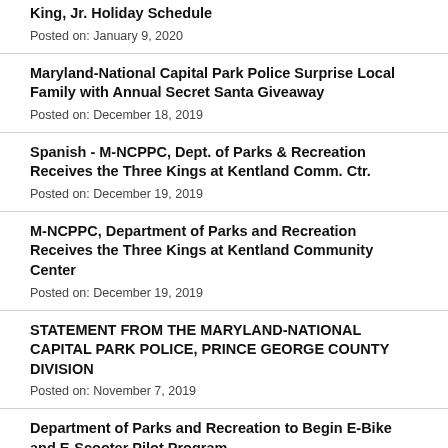King, Jr. Holiday Schedule
Posted on: January 9, 2020
Maryland-National Capital Park Police Surprise Local Family with Annual Secret Santa Giveaway
Posted on: December 18, 2019
Spanish - M-NCPPC, Dept. of Parks & Recreation Receives the Three Kings at Kentland Comm. Ctr.
Posted on: December 19, 2019
M-NCPPC, Department of Parks and Recreation Receives the Three Kings at Kentland Community Center
Posted on: December 19, 2019
STATEMENT FROM THE MARYLAND-NATIONAL CAPITAL PARK POLICE, PRINCE GEORGE COUNTY DIVISION
Posted on: November 7, 2019
Department of Parks and Recreation to Begin E-Bike and E-Scooter Pilot Program